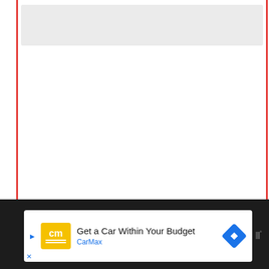[Figure (screenshot): Web browser screenshot showing a content page with red left and right border lines. Contains a grey placeholder bar at top, blank white main content area, a blue heart/like button, a grey share button with plus icon, and a 'What's Next' recommendation card showing a food image thumbnail and text 'What happens if you eat...'. Bottom section shows a dark toolbar/bar with a CarMax advertisement reading 'Get a Car Within Your Budget' with yellow CarMax logo and blue navigation arrow icon.]